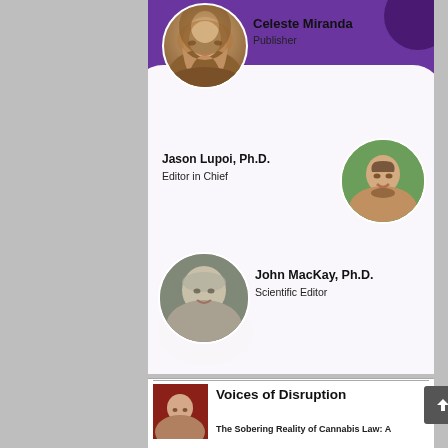[Figure (photo): Staff profile card with purple background. Circular photo of Celeste Miranda, a woman with long curly hair, smiling.]
Celeste Miranda
Publisher
[Figure (photo): Circular photo of Jason Lupoi, a young man with dark hair and beard, smiling outdoors.]
Jason Lupoi, Ph.D.
Editor in Chief
[Figure (photo): Circular photo of John MacKay, an older bald man smiling.]
John MacKay, Ph.D.
Scientific Editor
[Figure (photo): Small circular photo of a man at microphone for 'Voices of Disruption' section.]
Voices of Disruption
The Sobering Reality of Cannabis Law: A